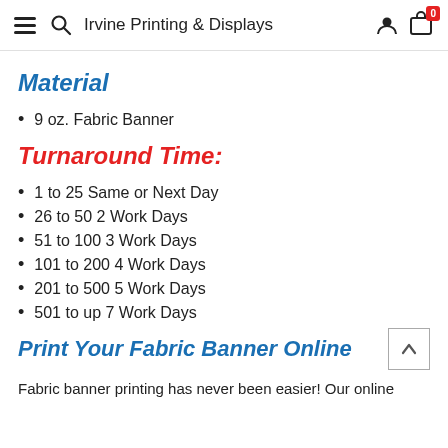Irvine Printing & Displays
Material
9 oz. Fabric Banner
Turnaround Time:
1 to 25  Same or Next Day
26 to 50  2 Work Days
51 to 100  3 Work Days
101 to 200  4 Work Days
201 to 500  5 Work Days
501 to up  7 Work Days
Print Your Fabric Banner Online
Fabric banner printing has never been easier! Our online